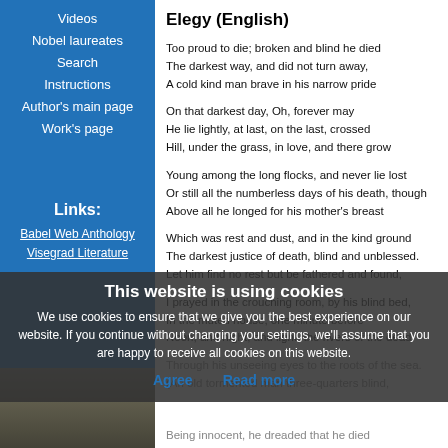Videos
Nobel laureates
Search
Instructions
Author's main page
Work's page
Links:
Babel Web Anthology
Visegrad Literature
Elegy (English)
Too proud to die; broken and blind he died
The darkest way, and did not turn away,
A cold kind man brave in his narrow pride
On that darkest day, Oh, forever may
He lie lightly, at last, on the last, crossed
Hill, under the grass, in love, and there grow
Young among the long flocks, and never lie lost
Or still all the numberless days of his death, though
Above all he longed for his mother's breast
Which was rest and dust, and in the kind ground
The darkest justice of death, blind and unblessed.
Let him find no rest but be fathered and found,
I prayed in the crouching room, by his blind bed,
In the muted house, one minute before
Noon, and night, and light, the rivers of the dead
Through his unseeing eyes to the roots of the sea.
(An old tormented man three-quarters blind,
Being innocent, he dreaded that he died
Hating his God, but what he was was plain:
An old kind man brave in his burning pride.
The sticks of the house were his; his books he owned.
This website is using cookies
We use cookies to ensure that we give you the best experience on our website. If you continue without changing your settings, we'll assume that you are happy to receive all cookies on this website.
Agree
Read more